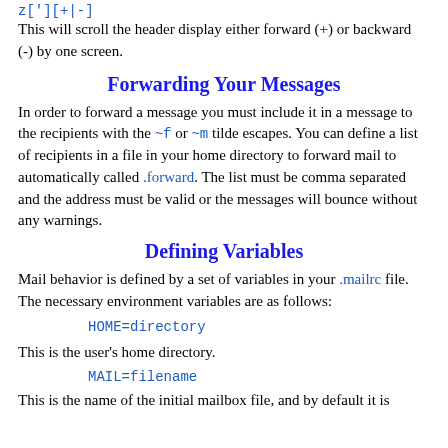z['][+|-]
This will scroll the header display either forward (+) or backward (-) by one screen.
Forwarding Your Messages
In order to forward a message you must include it in a message to the recipients with the ~f or ~m tilde escapes. You can define a list of recipients in a file in your home directory to forward mail to automatically called .forward. The list must be comma separated and the address must be valid or the messages will bounce without any warnings.
Defining Variables
Mail behavior is defined by a set of variables in your .mailrc file. The necessary environment variables are as follows:
HOME=directory
This is the user's home directory.
MAIL=filename
This is the name of the initial mailbox file, and by default it is...